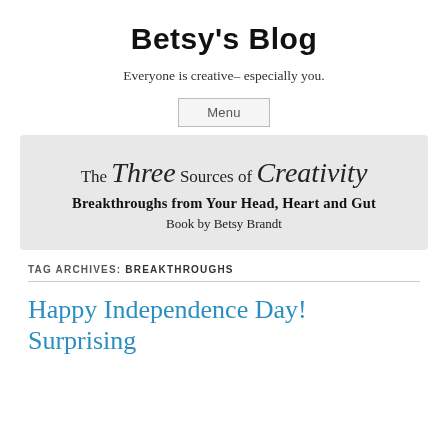Betsy's Blog
Everyone is creative– especially you.
[Figure (illustration): Book banner with decorative script text reading 'The Three Sources of Creativity, Breakthroughs from Your Head, Heart and Gut, Book by Betsy Brandt' on a light grey background.]
TAG ARCHIVES: BREAKTHROUGHS
Happy Independence Day! Surprising